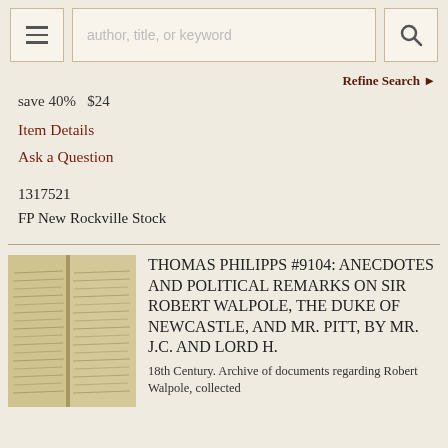author, title, or keyword [search bar]
Refine Search
save 40%   $24
Item Details
Ask a Question
1317521
FP New Rockville Stock
[Figure (photo): Photograph of an antique handwritten manuscript document with dense cursive text]
THOMAS PHILIPPS #9104: ANECDOTES AND POLITICAL REMARKS ON SIR ROBERT WALPOLE, THE DUKE OF NEWCASTLE, AND MR. PITT, BY MR. J.C. AND LORD H.
18th Century. Archive of documents regarding Robert Walpole, collected